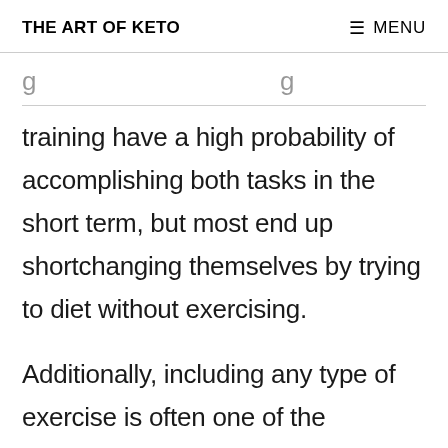THE ART OF KETO   ≡ MENU
training have a high probability of accomplishing both tasks in the short term, but most end up shortchanging themselves by trying to diet without exercising.

Additionally, including any type of exercise is often one of the predictors, those who successfully manage to